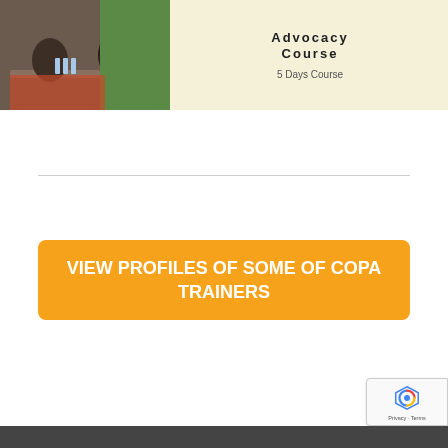[Figure (photo): A workshop or training session photo showing participants seated at tables with a green screen or board in the background. Overlaid on the right side is a light yellow panel with text 'Advocacy Course' and '5 Days Course'.]
VIEW PROFILES OF SOME OF COPA TRAINERS